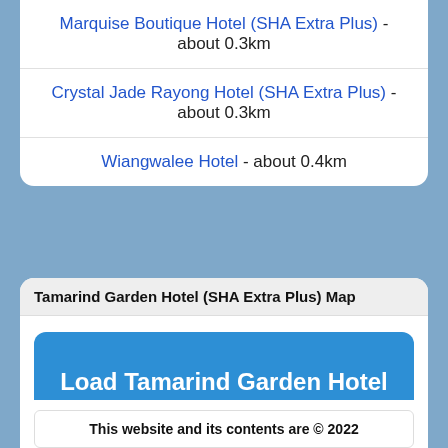Marquise Boutique Hotel (SHA Extra Plus) - about 0.3km
Crystal Jade Rayong Hotel (SHA Extra Plus) - about 0.3km
Wiangwalee Hotel - about 0.4km
Tamarind Garden Hotel (SHA Extra Plus) Map
Load Tamarind Garden Hotel (SHA Extra Plus) Map
This website and its contents are © 2022